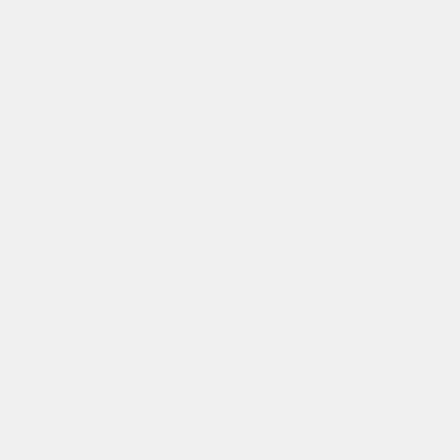| Map | Category | Links |
| --- | --- | --- |
| Map | Biomes | Grasslands · Lake · Mountains · Murky pool · Ocean · River · Savanna · Shrublands · Tundra · Wetlands |
|  | Features | Aquifer · Brook · Deep pool · Island · Magma pool · Passage · Road · Tunnel · Volcano · Waterfall |
|  | Underground | Cavern · Magma |